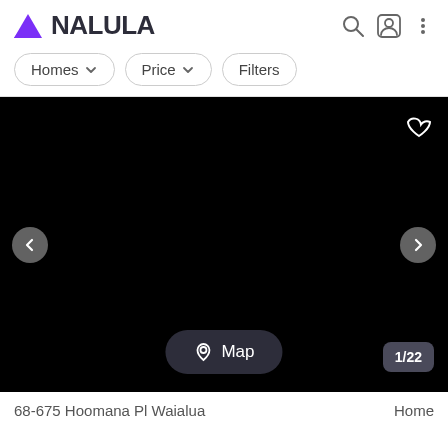NALULA
Homes   Price   Filters
[Figure (screenshot): Black image area showing a property photo carousel with left and right navigation arrows, a heart/favorite icon in the top right, a Map button at the bottom center, and a 1/22 photo counter at the bottom right]
68-675 Hoomana Pl Waialua   Home